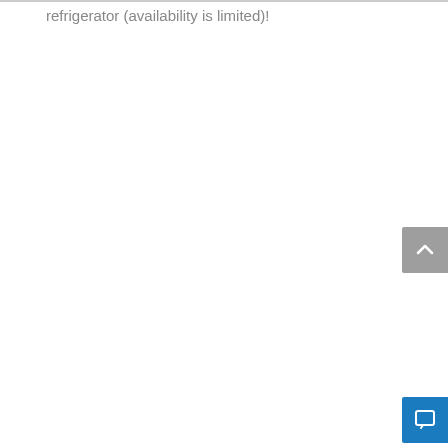refrigerator (availability is limited)!
[Figure (other): Scroll-to-top button: grey rounded rectangle with white upward chevron arrow on the right edge of the page]
[Figure (other): Chat button: blue rounded rectangle with white speech bubble / chat icon on the right edge of the page]